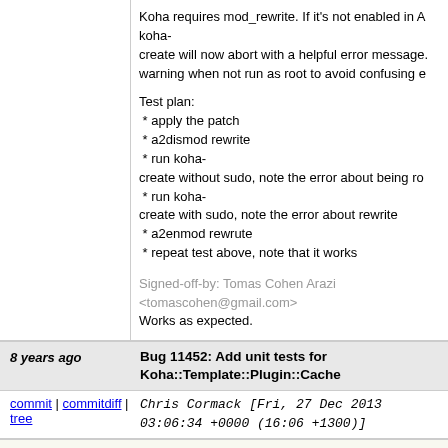Koha requires mod_rewrite. If it's not enabled in A koha- create will now abort with a helpful error message. warning when not run as root to avoid confusing e
Test plan:
 * apply the patch
 * a2dismod rewrite
 * run koha-
create without sudo, note the error about being ro
 * run koha-
create with sudo, note the error about rewrite
 * a2enmod rewrute
 * repeat test above, note that it works
Signed-off-by: Tomas Cohen Arazi <tomascohen@gmail.com>
Works as expected.
Signed-off-by: Galen Charlton <gmc@esilibrary.com>
8 years ago   Bug 11452: Add unit tests for Koha::Template::Plugin::Cache
commit | commitdiff | tree   Chris Cormack [Fri, 27 Dec 2013 03:06:34 +0000 (16:06 +1300)]
Bug 11452: Add unit tests for Koha::Template::Plu